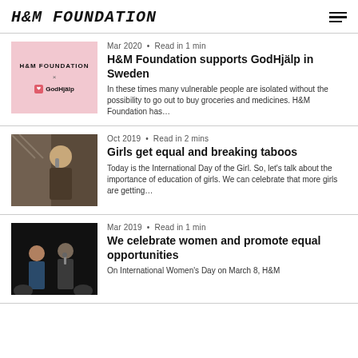H&M FOUNDATION
Mar 2020 • Read in 1 min
H&M Foundation supports GodHjälp in Sweden
In these times many vulnerable people are isolated without the possibility to go out to buy groceries and medicines. H&M Foundation has...
Oct 2019 • Read in 2 mins
Girls get equal and breaking taboos
Today is the International Day of the Girl. So, let's talk about the importance of education of girls. We can celebrate that more girls are getting...
Mar 2019 • Read in 1 min
We celebrate women and promote equal opportunities
On International Women's Day on March 8, H&M